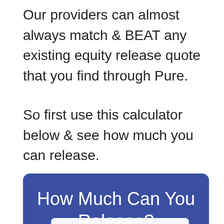Our providers can almost always match & BEAT any existing equity release quote that you find through Pure.
So first use this calculator below & see how much you can release.
[Figure (other): Blue rounded rectangle widget box with title 'How Much Can You Release?' and subtitle 'Use the Calculator Below ⬇' and a white input bar at the bottom]